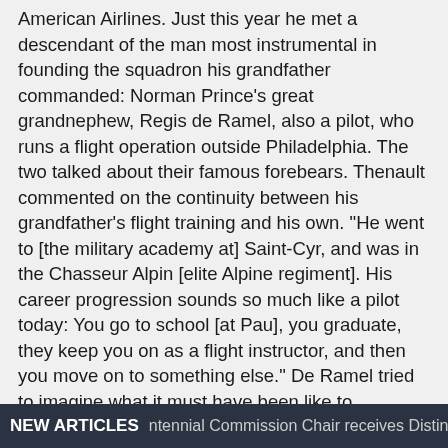American Airlines. Just this year he met a descendant of the man most instrumental in founding the squadron his grandfather commanded: Norman Prince's great grandnephew, Regis de Ramel, also a pilot, who runs a flight operation outside Philadelphia. The two talked about their famous forebears. Thenault commented on the continuity between his grandfather's flight training and his own. "He went to [the military academy at] Saint-Cyr, and was in the Chasseur Alpin [elite Alpine regiment]. His career progression sounds so much like a pilot today: You go to school [at Pau], you graduate, they keep you on as a flight instructor, and then you move on to something else." De Ramel tried to imagine what it must have been like to command the singular squadron his great uncle helped found. "Captain Thenault must have been someone who could keep herding the cats in the same direction so they wouldn't kill each other," de Ramel told Georges III. "He had a bunch of alphas who
NEW ARTICLES   ntennial Commission Chair receives Distinguish